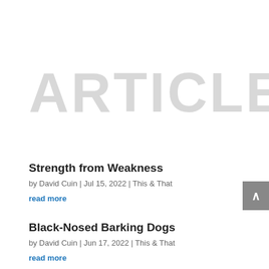ARTICLES
Strength from Weakness
by David Cuin | Jul 15, 2022 | This & That
read more
Black-Nosed Barking Dogs
by David Cuin | Jun 17, 2022 | This & That
read more